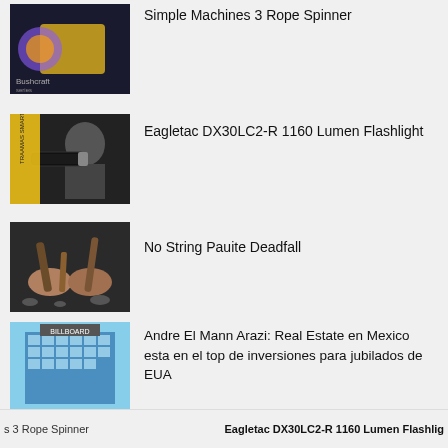Simple Machines 3 Rope Spinner
Eagletac DX30LC2-R 1160 Lumen Flashlight
No String Pauite Deadfall
Andre El Mann Arazi: Real Estate en Mexico esta en el top de inversiones para jubilados de EUA
Despite Abbott’s remarks, gun safety
s 3 Rope Spinner   Eagletac DX30LC2-R 1160 Lumen Flashlig